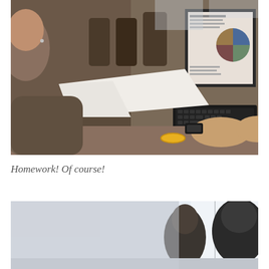[Figure (photo): Person with short hair wearing a grey sweater and yellow bracelet, working on a laptop at what appears to be an airport or public space. The laptop screen shows a document with a pie chart. An open notebook or paper device is also on the desk. Background shows chairs and other people.]
Homework! Of course!
[Figure (photo): Partial view of a person sitting, photographed from behind or side, in a bright indoor space with large windows. The image is cropped at the bottom of the page.]